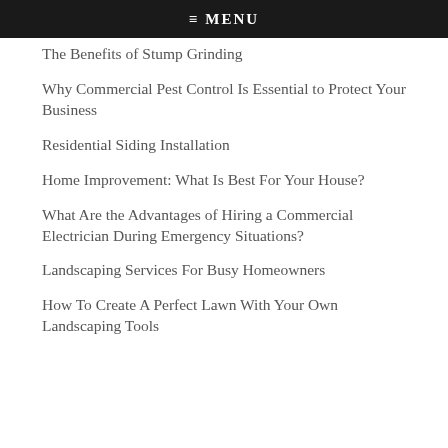≡ MENU
The Benefits of Stump Grinding
Why Commercial Pest Control Is Essential to Protect Your Business
Residential Siding Installation
Home Improvement: What Is Best For Your House?
What Are the Advantages of Hiring a Commercial Electrician During Emergency Situations?
Landscaping Services For Busy Homeowners
How To Create A Perfect Lawn With Your Own Landscaping Tools